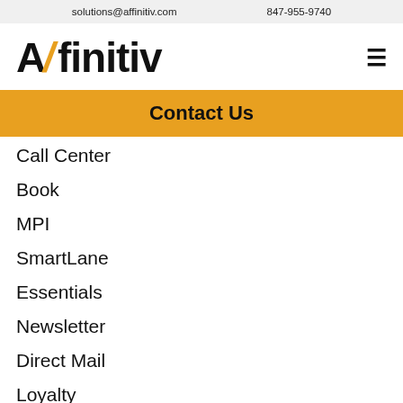solutions@affinitiv.com  847-955-9740
[Figure (logo): Affinitiv logo in bold black text with stylized slash]
Contact Us
Call Center
Book
MPI
SmartLane
Essentials
Newsletter
Direct Mail
Loyalty
Digital